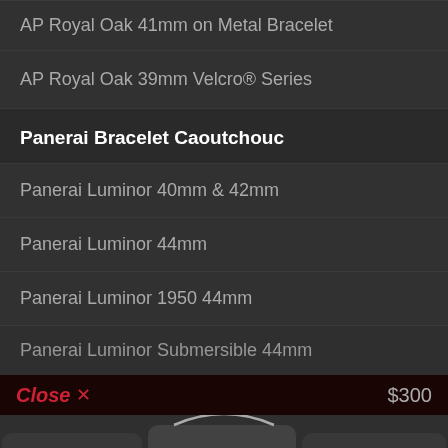AP Royal Oak 41mm on Metal Bracelet
AP Royal Oak 39mm Velcro® Series
Panerai Bracelet Caoutchouc
Panerai Luminor 40mm & 42mm
Panerai Luminor 44mm
Panerai Luminor 1950 44mm
Panerai Luminor Submersible 44mm
Close × $300
SwimSkin® Alligator | SwimSkin® Ballistic | SwimSkin® Twill
Other Des produits | Acheter au chariot | BUY NOW